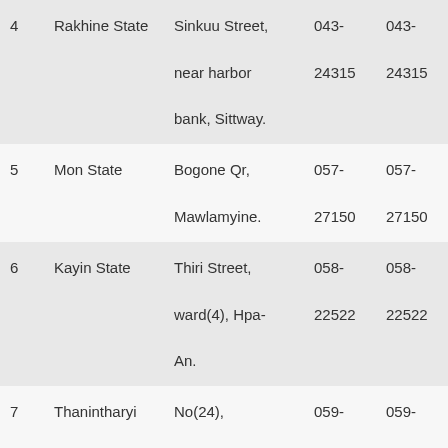| 4 | Rakhine State | Sinkuu Street, near harbor bank, Sittway. | 043-24315 | 043-24315 |
| 5 | Mon State | Bogone Qr, Mawlamyine. | 057-27150 | 057-27150 |
| 6 | Kayin State | Thiri Street, ward(4), Hpa-An. | 058-22522 | 058-22522 |
| 7 | Thanintharyi Region | No(24), Seikkanthar Street, Htawa. | 059-2023493 | 059-2023493 |
| 8 | Bago Region- | Myo Twin Gyi | 052- | 052- |